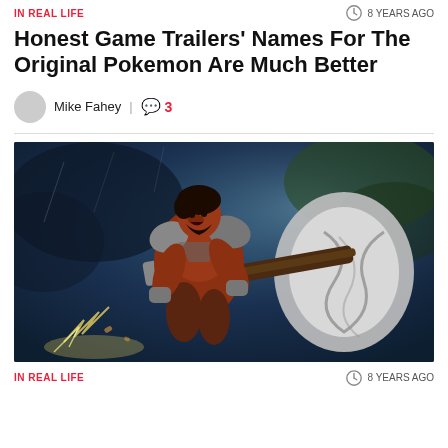IN REAL LIFE | 8 YEARS AGO
Honest Game Trailers’ Names For The Original Pokemon Are Much Better
Mike Fahey | 3
[Figure (illustration): Fantasy warrior character with red skin swinging a massive axe, digital art illustration with blue and green background]
IN REAL LIFE | 8 YEARS AGO